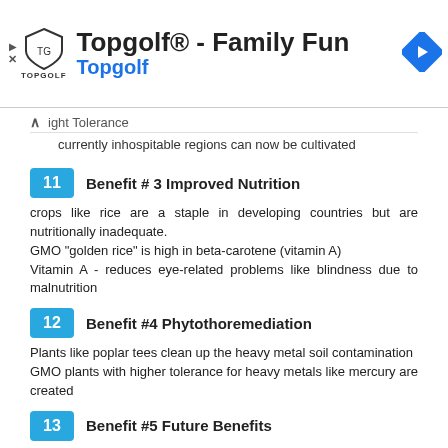[Figure (screenshot): Topgolf advertisement banner with logo, title 'Topgolf® - Family Fun', subtitle 'Topgolf', and navigation arrow icon]
ight Tolerance
currently inhospitable regions can now be cultivated
11  Benefit # 3 Improved Nutrition
crops like rice are a staple in developing countries but are nutritionally inadequate.
GMO "golden rice" is high in beta-carotene (vitamin A)
Vitamin A - reduces eye-related problems like blindness due to malnutrition
12  Benefit #4 Phytothoremediation
Plants like poplar tees clean up the heavy metal soil contamination
GMO plants with higher tolerance for heavy metals like mercury are created
13  Benefit #5 Future Benefits